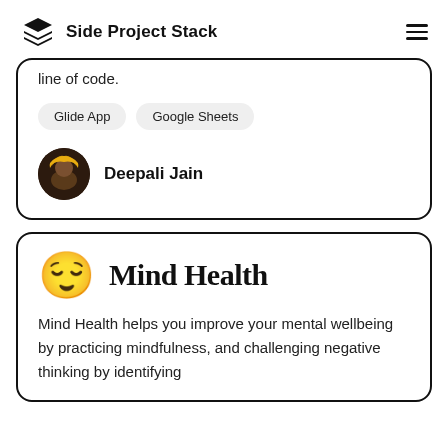Side Project Stack
line of code.
Glide App
Google Sheets
Deepali Jain
Mind Health
Mind Health helps you improve your mental wellbeing by practicing mindfulness, and challenging negative thinking by identifying